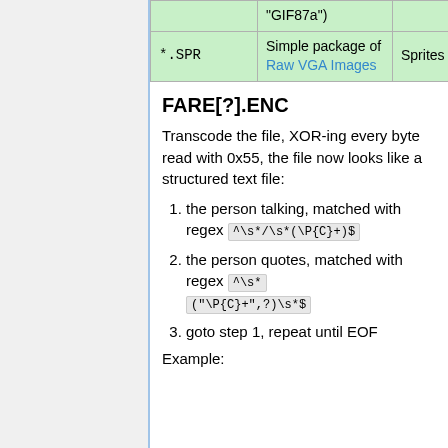|  |  |  |
| --- | --- | --- |
|  | "GIF87a") |  |
| *.SPR | Simple package of Raw VGA Images | Sprites |
FARE[?].ENC
Transcode the file, XOR-ing every byte read with 0x55, the file now looks like a structured text file:
1. the person talking, matched with regex ^\s*/\s*(\P{C}+)$
2. the person quotes, matched with regex ^\s* ("\P{C}+",?)\s*$
3. goto step 1, repeat until EOF
Example: